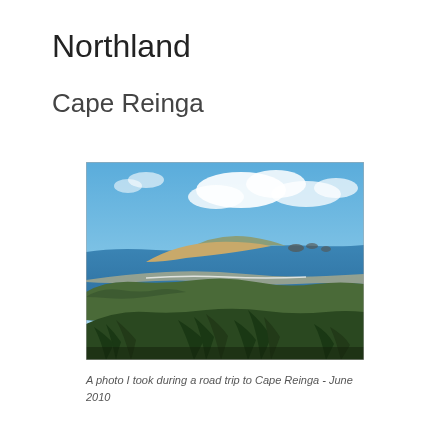Northland
Cape Reinga
[Figure (photo): Aerial coastal view of Cape Reinga, New Zealand, showing green scrubland in the foreground, a sandy headland curving into the blue ocean, rocky outcrops, and a partly cloudy blue sky. Photo taken June 2010.]
A photo I took during a road trip to Cape Reinga - June 2010